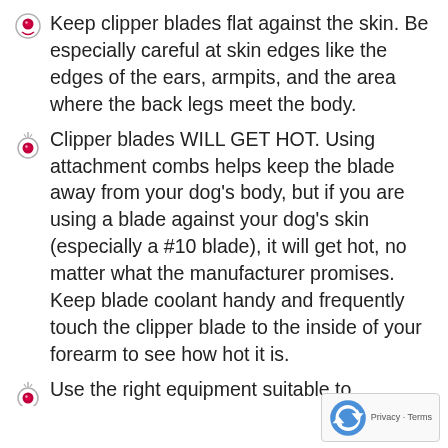Keep clipper blades flat against the skin. Be especially careful at skin edges like the edges of the ears, armpits, and the area where the back legs meet the body.
Clipper blades WILL GET HOT. Using attachment combs helps keep the blade away from your dog’s body, but if you are using a blade against your dog’s skin (especially a #10 blade), it will get hot, no matter what the manufacturer promises. Keep blade coolant handy and frequently touch the clipper blade to the inside of your forearm to see how hot it is.
Use the right equipment suitable to